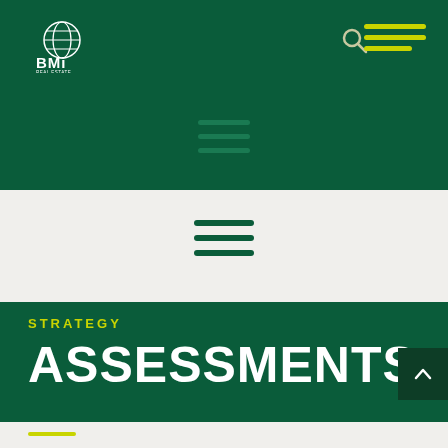[Figure (logo): BMi logo - white text on dark green background with globe graphic]
[Figure (infographic): Hamburger menu icon with three yellow-green horizontal lines, top right corner]
[Figure (infographic): Search magnifying glass icon, dark green header]
[Figure (infographic): Hamburger menu icon with three dark teal horizontal lines, center of dark green header]
[Figure (infographic): Hamburger menu icon with three dark green horizontal lines in light gray band]
STRATEGY
ASSESSMENTS
[Figure (infographic): Back to top chevron arrow button, dark green square, right side]
[Figure (infographic): Yellow-green horizontal line accent in footer area]